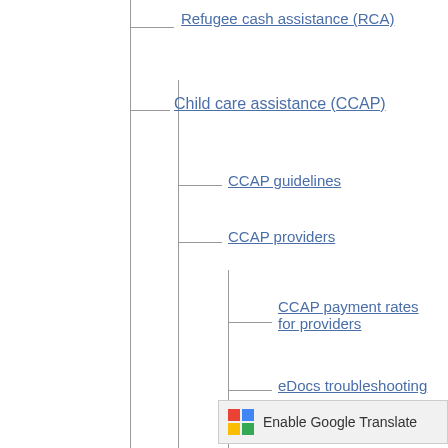Refugee cash assistance (RCA)
Child care assistance (CCAP)
CCAP guidelines
CCAP providers
CCAP payment rates for providers
eDocs troubleshooting
Types of child care providers
Choose a provider
How to apply for CCAP
Online resources
Report complaints and suspected fraud
Emergency assi...
Enable Google Translate